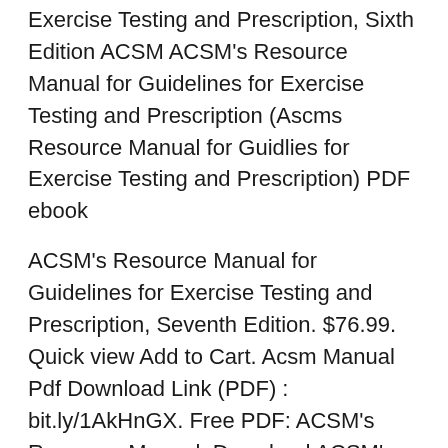Exercise Testing and Prescription, Sixth Edition ACSM ACSM's Resource Manual for Guidelines for Exercise Testing and Prescription (Ascms Resource Manual for Guidlies for Exercise Testing and Prescription) PDF ebook
ACSM's Resource Manual for Guidelines for Exercise Testing and Prescription, Seventh Edition. $76.99. Quick view Add to Cart. Acsm Manual Pdf Download Link (PDF) : bit.ly/1AkHnGX. Free PDF: ACSM's Resource Manual. Download ACSM's Guidelines for Exercise Testing and Prescription pdf Download.
acsm s resource manual for guidelines for exercise testing and prescription Download acsm s resource manual for guidelines for